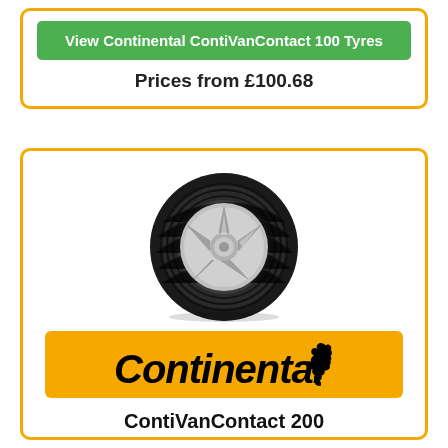View Continental ContiVanContact 100 Tyres
Prices from £100.68
[Figure (photo): Continental tyre with 5-spoke silver alloy wheel]
[Figure (logo): Continental brand logo on orange/yellow banner with horse icon]
ContiVanContact 200
4.6/5